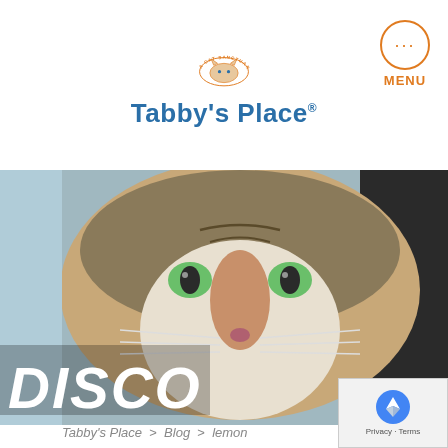Tabby's Place — A Cat Sanctuary
[Figure (photo): Close-up photo of a tabby cat with green eyes filling a banner/hero image. Text overlay reads 'DISCO' in large white italic letters.]
Tabby's Place > Blog > lemon
BY KITTY LE FEY   UNCATEGORIZED
GUEST POST: A PEEL OR APPEAL
Imagine riding shotgun in a blue Ford Explorer on I-95 N, just past Exit 17 for Saugatuck, CT, with a